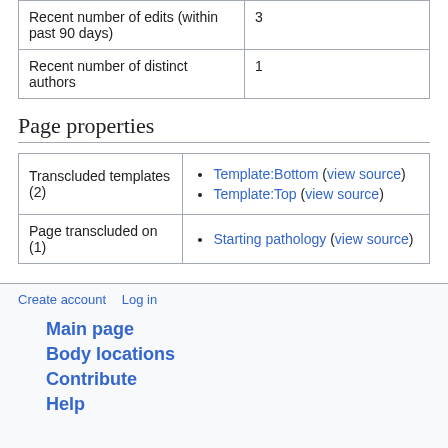|  |  |
| --- | --- |
| Recent number of edits (within past 90 days) | 3 |
| Recent number of distinct authors | 1 |
Page properties
|  |  |
| --- | --- |
| Transcluded templates (2) | Template:Bottom (view source)
Template:Top (view source) |
| Page transcluded on (1) | Starting pathology (view source) |
Create account   Log in
Main page
Body locations
Contribute
Help